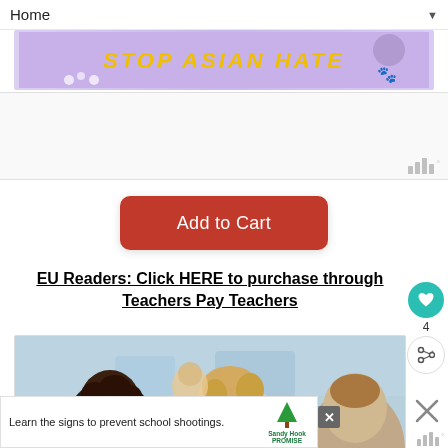Home ▼
[Figure (illustration): Purple banner with 'STOP ASIAN HATE' text in yellow and a paw print graphic]
[Figure (other): Advertisement placeholder box]
[Figure (other): Add to Cart button (red/dark red rounded rectangle)]
EU Readers: Click HERE to purchase through Teachers Pay Teachers
[Figure (photo): Photo of children (students) sitting together, viewed from behind/side, in a classroom setting]
Learn the signs to prevent school shootings.